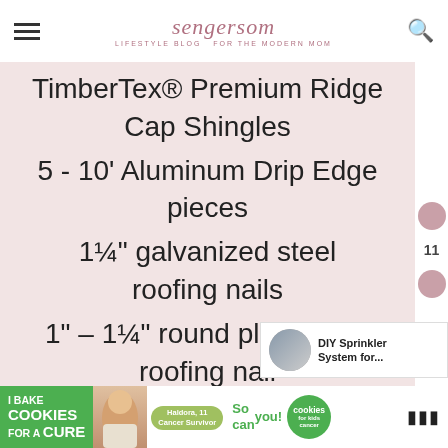sengersom — LIFESTYLE BLOG FOR THE MODERN MOM
TimberTex® Premium Ridge Cap Shingles
5 - 10' Aluminum Drip Edge pieces
1¼" galvanized steel roofing nails
1" – 1¼" round plastic cap roofing nail
plywood
[Figure (photo): Small thumbnail image of a DIY Sprinkler System article with text 'DIY Sprinkler System for...']
[Figure (infographic): Advertisement banner: I Bake COOKIES For A CURE - Haldora, 11 Cancer Survivor - So can you! - cookies for kids cancer]